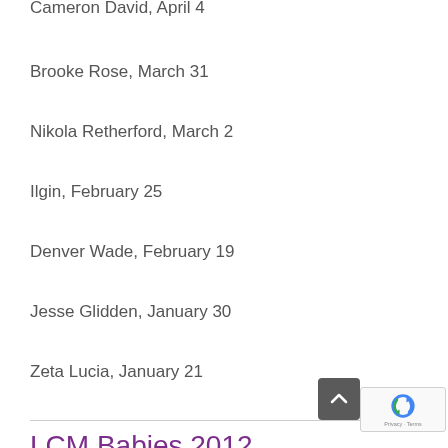Cameron David, April 4
Brooke Rose, March 31
Nikola Retherford, March 2
Ilgin, February 25
Denver Wade, February 19
Jesse Glidden, January 30
Zeta Lucia, January 21
LCM Babies 2012